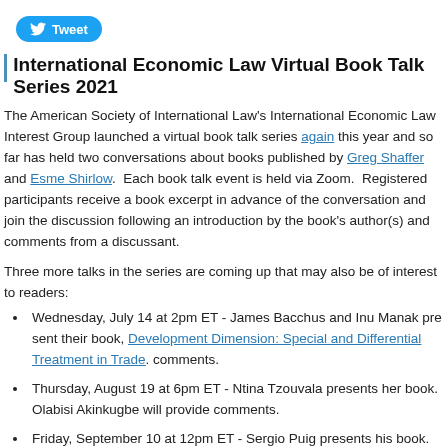[Figure (logo): Twitter Tweet button (blue pill-shaped button with bird icon and 'Tweet' text)]
International Economic Law Virtual Book Talk Series 2021
The American Society of International Law's International Economic Law Interest Group launched a virtual book talk series again this year and so far has held two conversations about books published by Greg Shaffer and Esme Shirlow. Each book talk event is held via Zoom. Registered participants receive a book excerpt in advance of the conversation and join the discussion following an introduction by the book's author(s) and comments from a discussant.
Three more talks in the series are coming up that may also be of interest to readers:
Wednesday, July 14 at 2pm ET - James Bacchus and Inu Manak present their book, The Development Dimension: Special and Differential Treatment in Trade. comments.
Thursday, August 19 at 6pm ET - Ntina Tzouvala presents her book. Olabisi Akinkugbe will provide comments.
Friday, September 10 at 12pm ET - Sergio Puig presents his book.